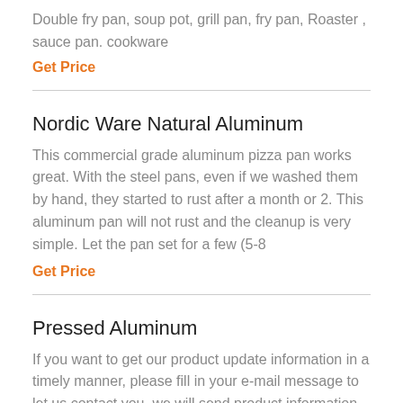Double fry pan, soup pot, grill pan, fry pan, Roaster , sauce pan. cookware
Get Price
Nordic Ware Natural Aluminum
This commercial grade aluminum pizza pan works great. With the steel pans, even if we washed them by hand, they started to rust after a month or 2. This aluminum pan will not rust and the cleanup is very simple. Let the pan set for a few (5-8
Get Price
Pressed Aluminum
If you want to get our product update information in a timely manner, please fill in your e-mail message to let us contact you, we will send product information to your
Get Price